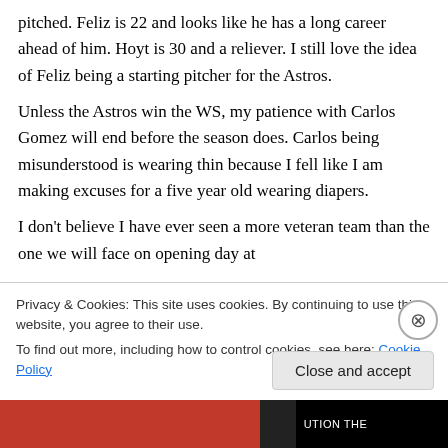pitched. Feliz is 22 and looks like he has a long career ahead of him. Hoyt is 30 and a reliever. I still love the idea of Feliz being a starting pitcher for the Astros.
Unless the Astros win the WS, my patience with Carlos Gomez will end before the season does. Carlos being misunderstood is wearing thin because I fell like I am making excuses for a five year old wearing diapers.
I don't believe I have ever seen a more veteran team than the one we will face on opening day at
Privacy & Cookies: This site uses cookies. By continuing to use this website, you agree to their use.
To find out more, including how to control cookies, see here: Cookie Policy
Close and accept